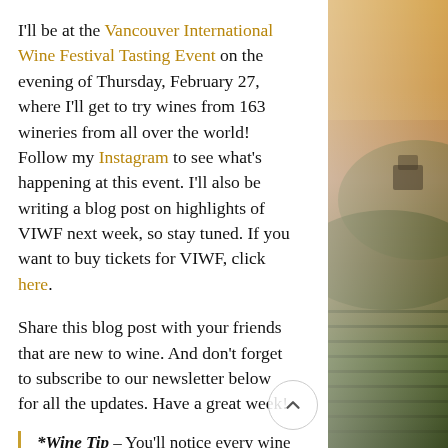I'll be at the Vancouver International Wine Festival Tasting Event on the evening of Thursday, February 27, where I'll get to try wines from 163 wineries from all over the world! Follow my Instagram to see what's happening at this event. I'll also be writing a blog post on highlights of VIWF next week, so stay tuned. If you want to buy tickets for VIWF, click here.
Share this blog post with your friends that are new to wine. And don't forget to subscribe to our newsletter below for all the updates. Have a great week!
*Wine Tip – You'll notice every wine bottle has a year on it. That is the vintage year of wine – so the harvest year of the grapes used to make the wine; in other words, the age of the wine. Most standard wines will be 2-3 years old, whereas
[Figure (photo): Aerial/landscape photograph of a vineyard at dusk with misty rolling hills and warm golden-orange sky visible on the right side of the page.]